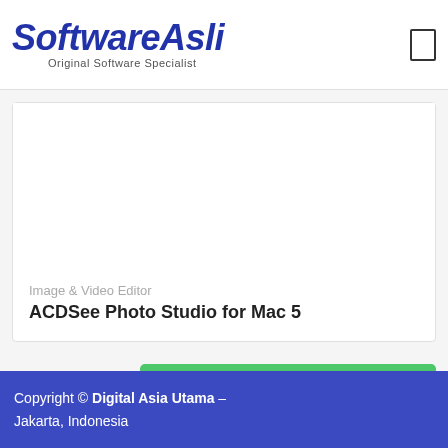[Figure (logo): SoftwareAsli logo — italic bold blue text with tagline 'Original Software Specialist']
[Figure (photo): Product image placeholder area for ACDSee Photo Studio for Mac 5 — white background]
Image & Video Editor
ACDSee Photo Studio for Mac 5
Hubungi Kami
Copyright © Digital Asia Utama – Jakarta, Indonesia